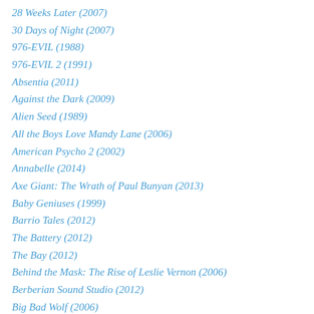28 Weeks Later (2007)
30 Days of Night (2007)
976-EVIL (1988)
976-EVIL 2 (1991)
Absentia (2011)
Against the Dark (2009)
Alien Seed (1989)
All the Boys Love Mandy Lane (2006)
American Psycho 2 (2002)
Annabelle (2014)
Axe Giant: The Wrath of Paul Bunyan (2013)
Baby Geniuses (1999)
Barrio Tales (2012)
The Battery (2012)
The Bay (2012)
Behind the Mask: The Rise of Leslie Vernon (2006)
Berberian Sound Studio (2012)
Big Bad Wolf (2006)
Blade 2 (2002)
The Bleeding (2009)